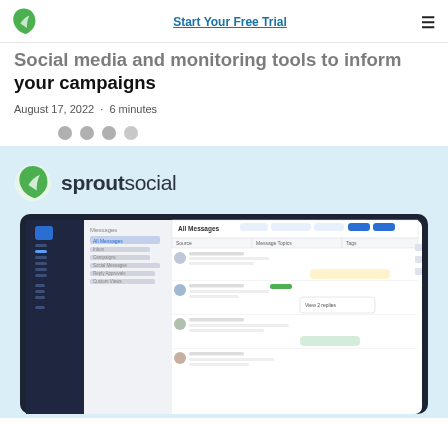Start Your Free Trial
Social media and monitoring tools to inform your campaigns
August 17, 2022 · 6 minutes
[Figure (logo): Sprout Social logo with green leaf icon and 'sproutsocial' wordmark]
[Figure (screenshot): Sprout Social app interface showing All Messages inbox with conversation threads, sidebar navigation, and message replies]